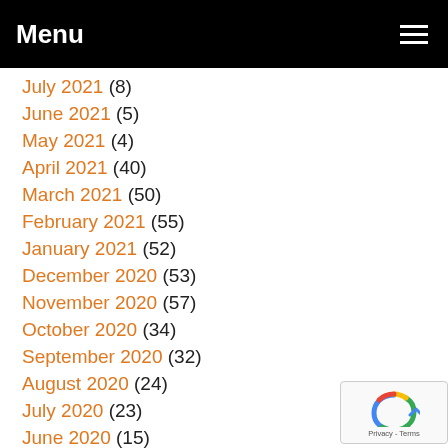Menu
July 2021 (8)
June 2021 (5)
May 2021 (4)
April 2021 (40)
March 2021 (50)
February 2021 (55)
January 2021 (52)
December 2020 (53)
November 2020 (57)
October 2020 (34)
September 2020 (32)
August 2020 (24)
July 2020 (23)
June 2020 (15)